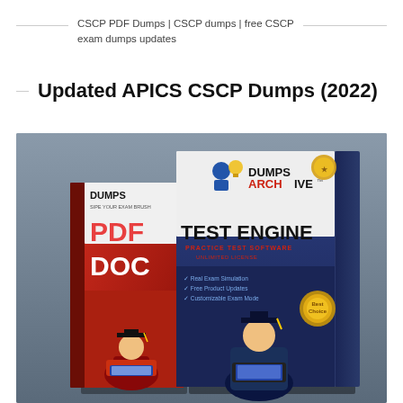CSCP PDF Dumps | CSCP dumps | free CSCP exam dumps updates
Updated APICS CSCP Dumps (2022)
[Figure (photo): Two DumpsArchive branded study books displayed side by side — a red PDF/DOC book on the left and a blue Test Engine book on the right, both featuring a graduate student illustration, set against a gray background.]